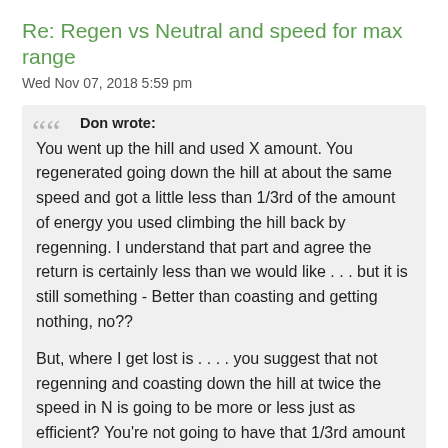Re: Regen vs Neutral and speed for max range
Wed Nov 07, 2018 5:59 pm
Don wrote:

You went up the hill and used X amount. You regenerated going down the hill at about the same speed and got a little less than 1/3rd of the amount of energy you used climbing the hill back by regenning. I understand that part and agree the return is certainly less than we would like . . . but it is still something - Better than coasting and getting nothing, no??

But, where I get lost is . . . . you suggest that not regenning and coasting down the hill at twice the speed in N is going to be more or less just as efficient? You're not going to have that 1/3rd amount of energy you used going up the hill back in your pack . . . . are you? You'll get to the bottom